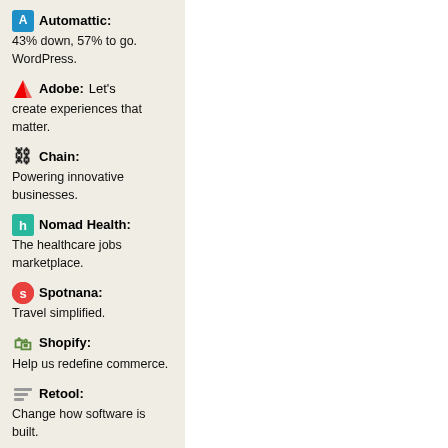Automattic: 43% down, 57% to go. WordPress.
Adobe: Let's create experiences that matter.
Chain: Powering innovative businesses.
Nomad Health: The healthcare jobs marketplace.
Spotnana: Travel simplified.
Shopify: Help us redefine commerce.
Retool: Change how software is built.
Coalition: